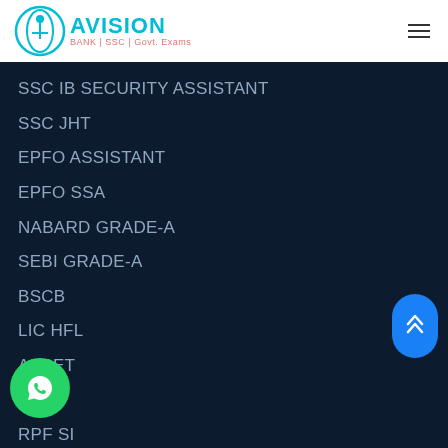Avision — BANK | SSC | Govt. Exams
SSC IB SECURITY ASSISTANT
SSC JHT
EPFO ASSISTANT
EPFO SSA
NABARD GRADE-A
SEBI GRADE-A
BSCB
LIC HFL
APSET
SNAP
RPF SI
MH CET
NLSIU NLAT